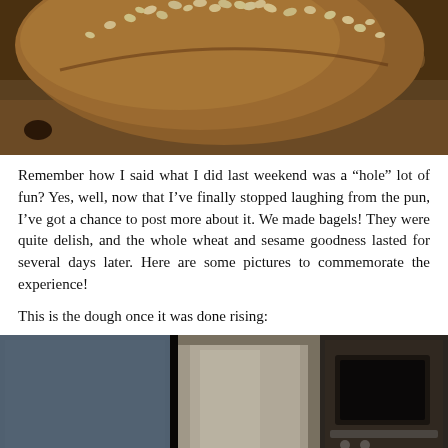[Figure (photo): Close-up photo of a round sesame-topped whole wheat bagel loaf on a baking surface]
Remember how I said what I did last weekend was a “hole” lot of fun? Yes, well, now that I’ve finally stopped laughing from the pun, I’ve got a chance to post more about it. We made bagels! They were quite delish, and the whole wheat and sesame goodness lasted for several days later. Here are some pictures to commemorate the experience!
This is the dough once it was done rising:
[Figure (photo): Photo showing risen bread dough in what appears to be a kitchen setting with blue and metallic surfaces visible]